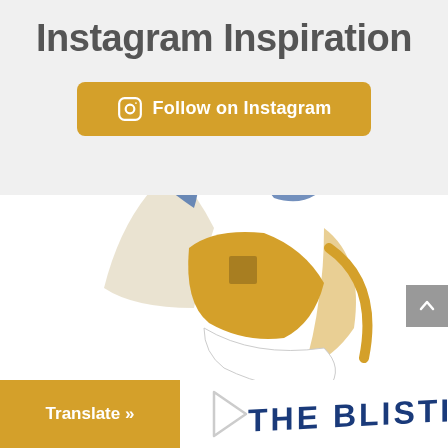Instagram Inspiration
Follow on Instagram
[Figure (logo): Partial circular logo with blue, cream, and golden/amber colored geometric segments on white background, resembling a globe or abstract design]
[Figure (illustration): Play button triangle icon, light gray outline]
Translate »
THE BLISTING